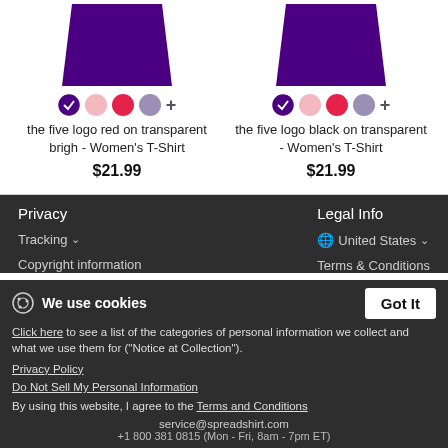[Figure (photo): Purple women's t-shirt product image, left item]
the five logo red on transparent brigh - Women's T-Shirt
$21.99
[Figure (photo): Purple women's t-shirt product image, right item]
the five logo black on transparent - Women's T-Shirt
$21.99
Privacy
Legal Info
Tracking ∨
🌐 United States ∨
Copyright information
Terms & Conditions
We use cookies
Click here to see a list of the categories of personal information we collect and what we use them for ("Notice at Collection").
Privacy Policy
Do Not Sell My Personal Information
By using this website, I agree to the Terms and Conditions
service@spreadshirt.com
+1 800 381 0815 (Mon - Fri, 8am - 7pm ET)